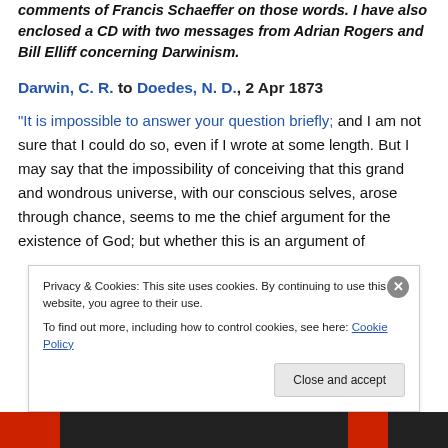comments of Francis Schaeffer on those words. I have also enclosed a CD with two messages from Adrian Rogers and Bill Elliff concerning Darwinism.
Darwin, C. R. to Doedes, N. D., 2 Apr 1873
“It is impossible to answer your question briefly; and I am not sure that I could do so, even if I wrote at some length. But I may say that the impossibility of conceiving that this grand and wondrous universe, with our conscious selves, arose through chance, seems to me the chief argument for the existence of God; but whether this is an argument of
Privacy & Cookies: This site uses cookies. By continuing to use this website, you agree to their use.
To find out more, including how to control cookies, see here: Cookie Policy